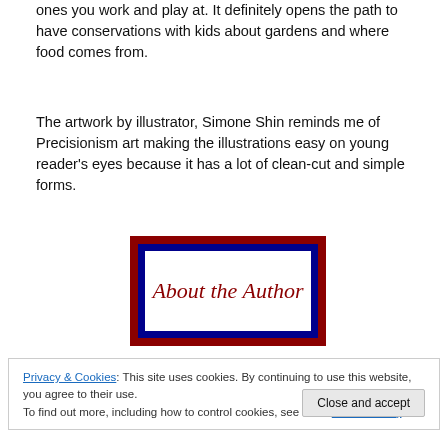ones you work and play at. It definitely opens the path to have conservations with kids about gardens and where food comes from.
The artwork by illustrator, Simone Shin reminds me of Precisionism art making the illustrations easy on young reader's eyes because it has a lot of clean-cut and simple forms.
[Figure (illustration): Decorative banner image reading 'About the Author' in red italic serif font, inside a white rectangle bordered by dark blue and dark red frames.]
Privacy & Cookies: This site uses cookies. By continuing to use this website, you agree to their use.
To find out more, including how to control cookies, see here: Cookie Policy
Close and accept
Caldecott Honor book All the World and